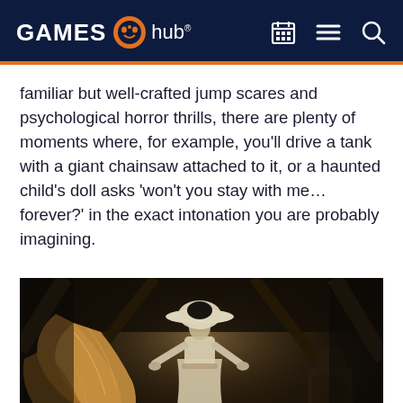GAMES hub
familiar but well-crafted jump scares and psychological horror thrills, there are plenty of moments where, for example, you’ll drive a tank with a giant chainsaw attached to it, or a haunted child’s doll asks ‘won’t you stay with me… forever?’ in the exact intonation you are probably imagining.
[Figure (photo): A tall woman in a large white hat and long white dress with dramatic golden wings/fabric spread out, standing in a dark atmospheric scene from what appears to be a video game (Resident Evil Village). A smaller figure is visible to the right.]